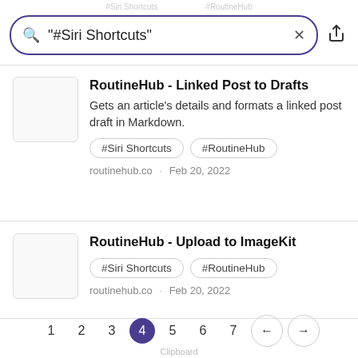#Siri Shortcuts   #RoutineHub
"#Siri Shortcuts"
RoutineHub - Linked Post to Drafts
Gets an article's details and formats a linked post draft in Markdown.
#Siri Shortcuts
#RoutineHub
routinehub.co · Feb 20, 2022
RoutineHub - Upload to ImageKit
#Siri Shortcuts
#RoutineHub
routinehub.co · Feb 20, 2022
1  2  3  4  5  6  7  ←  →